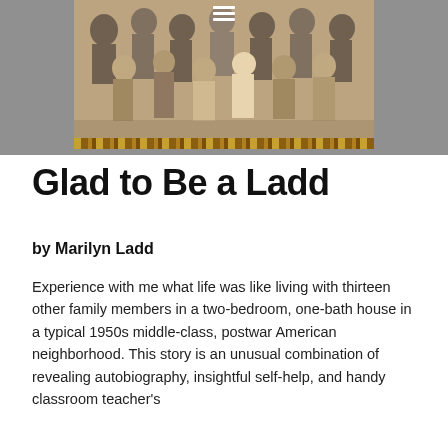[Figure (photo): Sepia-toned vintage photograph of a group of children standing together, likely a family or classroom photo from the 1950s. The photo has a decorative gold/brown patterned border at the bottom. A hamburger menu icon (three horizontal white lines) is overlaid at the top center of the image. The photo sits on a gray background.]
Glad to Be a Ladd
by Marilyn Ladd
Experience with me what life was like living with thirteen other family members in a two-bedroom, one-bath house in a typical 1950s middle-class, postwar American neighborhood. This story is an unusual combination of revealing autobiography, insightful self-help, and handy classroom teacher's